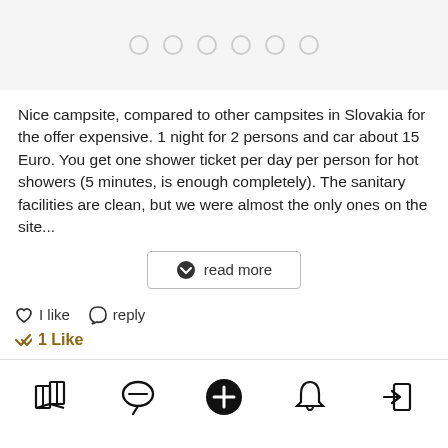[Figure (other): Image carousel strip with 6 pagination dots on light grey background]
Nice campsite, compared to other campsites in Slovakia for the offer expensive. 1 night for 2 persons and car about 15 Euro. You get one shower ticket per day per person for hot showers (5 minutes, is enough completely). The sanitary facilities are clean, but we were almost the only ones on the site...
read more
I like   reply
1 Like
[Figure (other): Bottom navigation bar with icons: map, chat, add (filled circle), bell, login arrow]